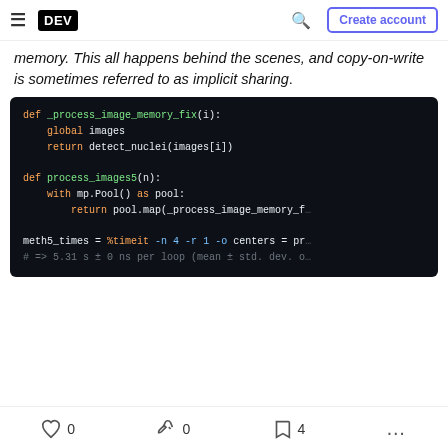DEV | Create account
memory. This all happens behind the scenes, and copy-on-write is sometimes referred to as implicit sharing.
[Figure (screenshot): Python code block on dark background showing def _process_image_memory_fix(i): with global images and return detect_nuclei(images[i]); def process_images5(n): with mp.Pool() as pool: return pool.map(_process_image_memory_f...; meth5_times = %timeit -n 4 -r 1 -o centers = pr...; # => 5.31 s ± 0 ns per loop (mean ± std. dev. o...]
0  0  4  ...